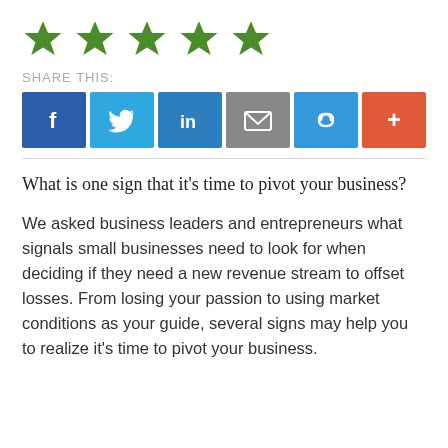[Figure (other): Five green star rating icons in a row]
SHARE THIS:
[Figure (other): Social sharing buttons row: Facebook (blue), Twitter (light blue), LinkedIn (blue), Email (gray), Link (blue), More (orange/red)]
What is one sign that it's time to pivot your business?
We asked business leaders and entrepreneurs what signals small businesses need to look for when deciding if they need a new revenue stream to offset losses. From losing your passion to using market conditions as your guide, several signs may help you to realize it's time to pivot your business.